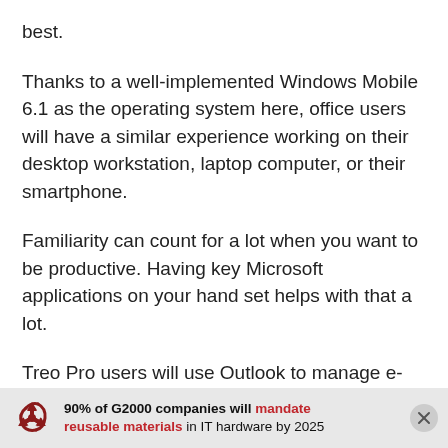best.
Thanks to a well-implemented Windows Mobile 6.1 as the operating system here, office users will have a similar experience working on their desktop workstation, laptop computer, or their smartphone.
Familiarity can count for a lot when you want to be productive. Having key Microsoft applications on your hand set helps with that a lot.
Treo Pro users will use Outlook to manage e-mail, and have access to mobile Office applications such as Word, PowerPoint, Excel and OneNote. That ensures
90% of G2000 companies will mandate reusable materials in IT hardware by 2025